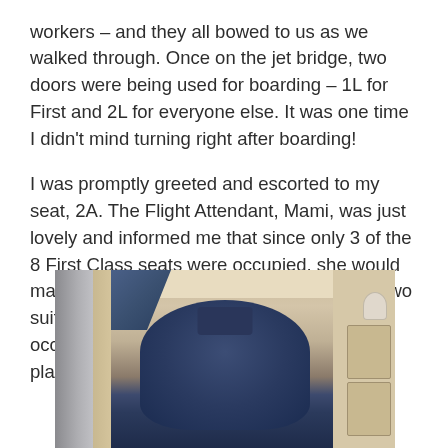workers – and they all bowed to us as we walked through. Once on the jet bridge, two doors were being used for boarding – 1L for First and 2L for everyone else. It was one time I didn't mind turning right after boarding!
I was promptly greeted and escorted to my seat, 2A. The Flight Attendant, Mami, was just lovely and informed me that since only 3 of the 8 First Class seats were occupied, she would make my bed across the aisle in 2D. Wow, two suites just for me! Neither 1A nor 1D were occupied so I had the whole left side of the plane to myself.
[Figure (photo): Interior photo of an airline first class suite showing a blue padded seat/headrest, beige/tan suite walls and divider, wooden-look cabinet doors on the right, a silver metallic panel on the left, and blue curtain visible in the upper left background.]